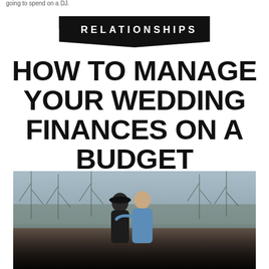going to spend on a DJ.
RELATIONSHIPS
HOW TO MANAGE YOUR WEDDING FINANCES ON A BUDGET
[Figure (photo): A couple smiling and embracing outdoors in a field with bare winter trees in the background. The woman wears a black hat and the man is in a blue henley shirt.]